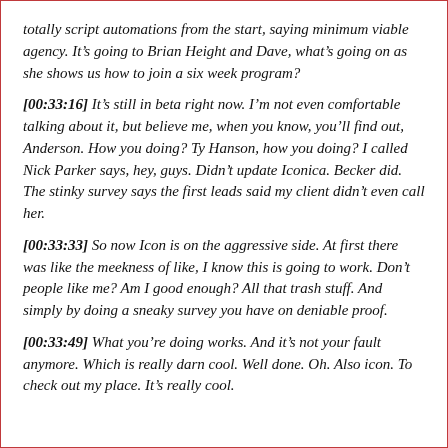totally script automations from the start, saying minimum viable agency. It’s going to Brian Height and Dave, what’s going on as she shows us how to join a six week program?
[00:33:16] It’s still in beta right now. I’m not even comfortable talking about it, but believe me, when you know, you’ll find out, Anderson. How you doing? Ty Hanson, how you doing? I called Nick Parker says, hey, guys. Didn’t update Iconica. Becker did. The stinky survey says the first leads said my client didn’t even call her.
[00:33:33] So now Icon is on the aggressive side. At first there was like the meekness of like, I know this is going to work. Don’t people like me? Am I good enough? All that trash stuff. And simply by doing a sneaky survey you have on deniable proof.
[00:33:49] What you’re doing works. And it’s not your fault anymore. Which is really darn cool. Well done. Oh. Also icon. To check out my place. It’s really cool.